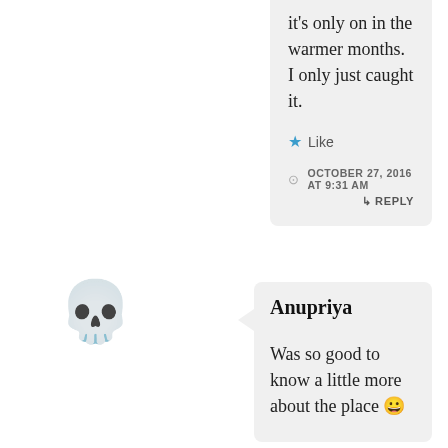it's only on in the warmer months. I only just caught it.
★ Like
OCTOBER 27, 2016 AT 9:31 AM
↳ REPLY
Anupriya
Was so good to know a little more about the place 😀